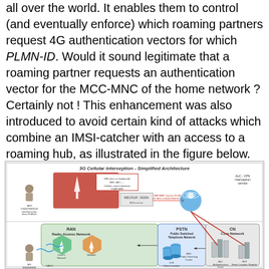all over the world. It enables them to control (and eventually enforce) which roaming partners request 4G authentication vectors for which PLMN-ID. Would it sound legitimate that a roaming partner requests an authentication vector for the MCC-MNC of the home network ? Certainly not ! This enhancement was also introduced to avoid certain kind of attacks which combine an IMSI-catcher with an access to a roaming hub, as illustrated in the figure below.
[Figure (engineering-diagram): 3G Cellular Interception - Simplified Architecture diagram showing RAN (Radio Access Network), PSTN (Public Switched Telephone Network), and CN (Core Network) components including Base Stations, VLR/Visitor Location Register, MSC/Public Switching Center, AuC/Authentication Center, HLR/Home Location Register, and connections between them. An IMSI catcher is shown connected via a roaming hub with MAP/MAP request flows indicated.]